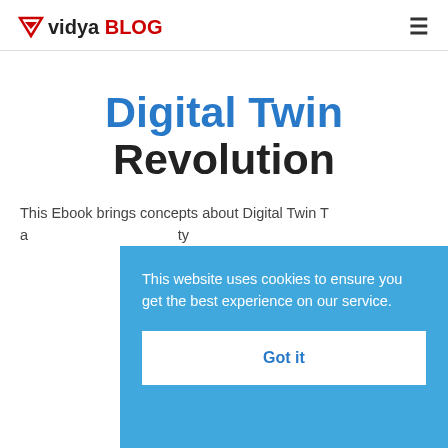vidya BLOG
Digital Twin Revolution
This Ebook brings concepts about Digital Twin Technology and applications for different types of industry.
This website uses cookies to ensure you get the best experience on our service.
Got it